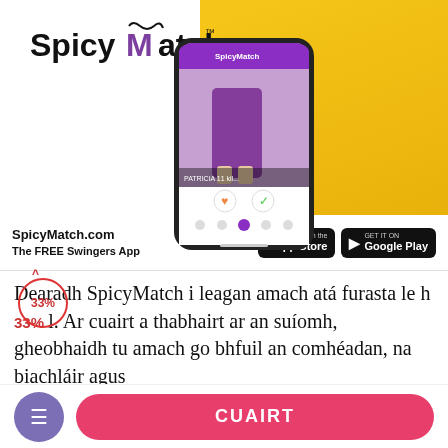[Figure (screenshot): SpicyMatch app advertisement showing logo, phone mockup with dating app interface, App Store and Google Play buttons, and SpicyMatch.com branding with 'The FREE Swingers App' tagline]
Dearadh SpicyMatch i leagan amach atá furasta le h 33% l. Ar cuairt a thabhairt ar an suíomh, gheobhaidh tu amach go bhfuil an comhéadan, na biachláir agus
CUAIRT